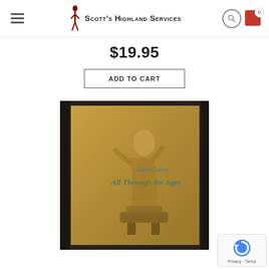Scott's Highland Services
$19.95
ADD TO CART
[Figure (photo): CD album cover for 'John Cairns - All Through the Ages' showing a blacksmith at an anvil on a golden-brown sepia toned cover, inside a dark jewel case]
[Figure (logo): Google reCAPTCHA badge with spinning arrow logo and Privacy/Terms links]